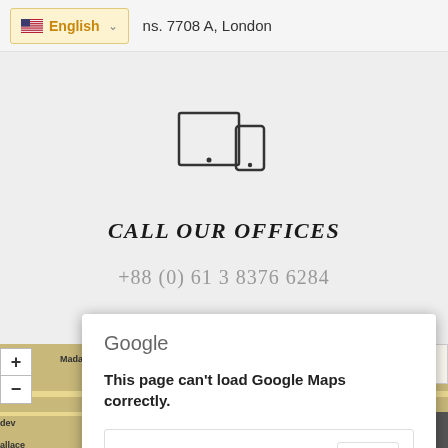English   ns. 7708 A, London
[Figure (illustration): Icon of a desktop monitor and a mobile phone (responsive device icons), drawn with simple outlines]
CALL OUR OFFICES
+88 (0) 61 3 8376 6284
[Figure (screenshot): Google Maps embedded map showing London area (Mayfair, Madam Tussauds area) with a Google error dialog: 'This page can't load Google Maps correctly.' and a prompt 'Do you own this website?' with an OK button]